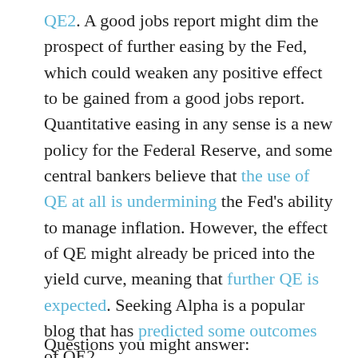QE2. A good jobs report might dim the prospect of further easing by the Fed, which could weaken any positive effect to be gained from a good jobs report. Quantitative easing in any sense is a new policy for the Federal Reserve, and some central bankers believe that the use of QE at all is undermining the Fed's ability to manage inflation. However, the effect of QE might already be priced into the yield curve, meaning that further QE is expected. Seeking Alpha is a popular blog that has predicted some outcomes of QE2.
Questions you might answer: